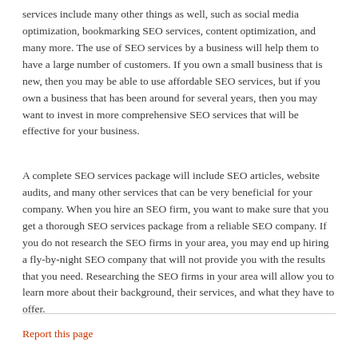services include many other things as well, such as social media optimization, bookmarking SEO services, content optimization, and many more. The use of SEO services by a business will help them to have a large number of customers. If you own a small business that is new, then you may be able to use affordable SEO services, but if you own a business that has been around for several years, then you may want to invest in more comprehensive SEO services that will be effective for your business.
A complete SEO services package will include SEO articles, website audits, and many other services that can be very beneficial for your company. When you hire an SEO firm, you want to make sure that you get a thorough SEO services package from a reliable SEO company. If you do not research the SEO firms in your area, you may end up hiring a fly-by-night SEO company that will not provide you with the results that you need. Researching the SEO firms in your area will allow you to learn more about their background, their services, and what they have to offer.
Report this page